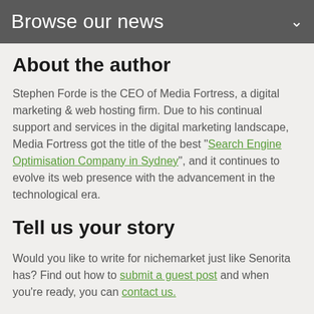Browse our news
About the author
Stephen Forde is the CEO of Media Fortress, a digital marketing & web hosting firm. Due to his continual support and services in the digital marketing landscape, Media Fortress got the title of the best "Search Engine Optimisation Company in Sydney", and it continues to evolve its web presence with the advancement in the technological era.
Tell us your story
Would you like to write for nichemarket just like Senorita has? Find out how to submit a guest post and when you're ready, you can contact us.
Are you looking to promote your business?